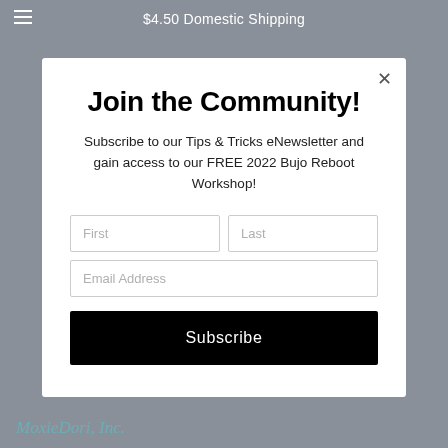$4.50 Domestic Shipping
Join the Community!
Subscribe to our Tips & Tricks eNewsletter and gain access to our FREE 2022 Bujo Reboot Workshop!
First | Last | Email Address | Subscribe
MoxieDori, Inc.